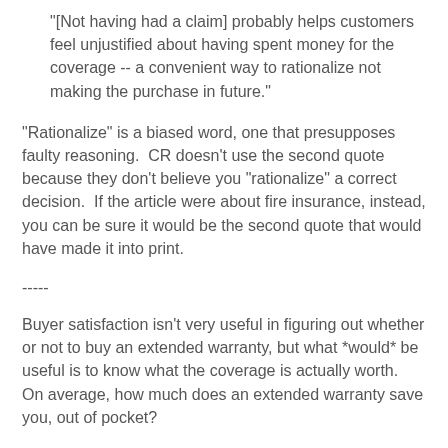"[Not having had a claim] probably helps customers feel unjustified about having spent money for the coverage -- a convenient way to rationalize not making the purchase in future."
"Rationalize" is a biased word, one that presupposes faulty reasoning.  CR doesn't use the second quote because they don't believe you "rationalize" a correct decision.  If the article were about fire insurance, instead, you can be sure it would be the second quote that would have made it into print.
-----
Buyer satisfaction isn't very useful in figuring out whether or not to buy an extended warranty, but what *would* be useful is to know what the coverage is actually worth.  On average, how much does an extended warranty save you, out of pocket?
In CR's survey, the median price of a warranty was $1,214.